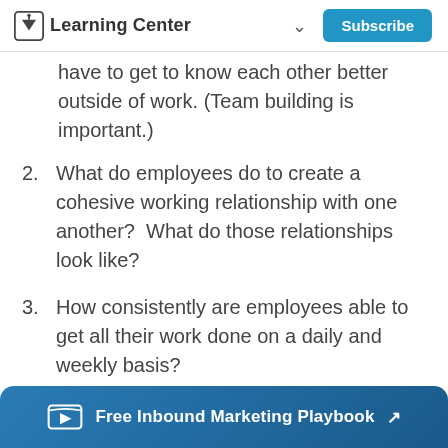Learning Center  Subscribe
have to get to know each other better outside of work. (Team building is important.)
2. What do employees do to create a cohesive working relationship with one another?  What do those relationships look like?
3. How consistently are employees able to get all their work done on a daily and weekly basis?
If you don’t have positive or affirmative answers to these questions, it’s likely your work environment
Free Inbound Marketing Playbook ↗